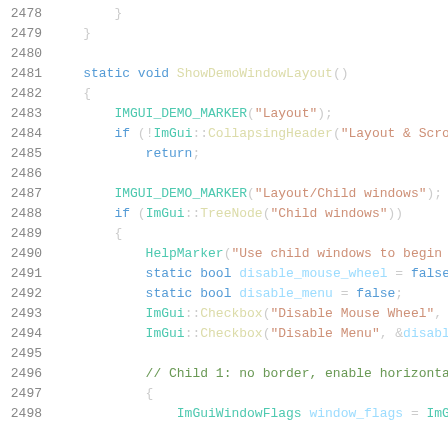Code listing lines 2478-2498, C++ source code for ImGui demo window layout
2478:     }
2479: }
2480: (empty)
2481: static void ShowDemoWindowLayout()
2482: {
2483:     IMGUI_DEMO_MARKER("Layout");
2484:     if (!ImGui::CollapsingHeader("Layout & Scro
2485:         return;
2486: (empty)
2487:     IMGUI_DEMO_MARKER("Layout/Child windows");
2488:     if (ImGui::TreeNode("Child windows"))
2489:     {
2490:         HelpMarker("Use child windows to begin
2491:         static bool disable_mouse_wheel = false
2492:         static bool disable_menu = false;
2493:         ImGui::Checkbox("Disable Mouse Wheel",
2494:         ImGui::Checkbox("Disable Menu", &disabl
2495: (empty)
2496:         // Child 1: no border, enable horizonta
2497:         {
2498:             ImGuiWindowFlags window_flags = ImG